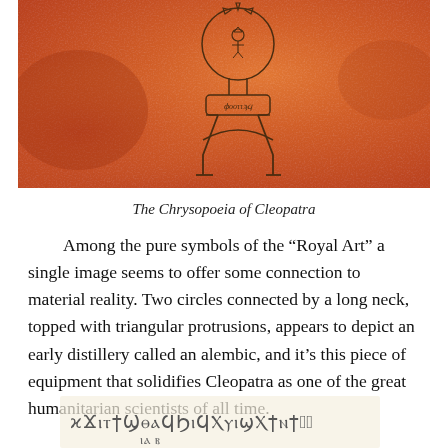[Figure (illustration): Ancient Egyptian alchemical illustration from the Chrysopoeia of Cleopatra, showing symbolic figures on an orange/terracotta textured background. Features a circular emblem at top connected by a neck to an arch-like structure, with two legs, the whole resembling an alembic distillery apparatus. Inside the top circle is a smaller figure, and there is a rectangular banner with ancient text in the middle.]
The Chrysopoeia of Cleopatra
Among the pure symbols of the “Royal Art” a single image seems to offer some connection to material reality. Two circles connected by a long neck, topped with triangular protrusions, appears to depict an early distillery called an alembic, and it’s this piece of equipment that solidifies Cleopatra as one of the great humanitarian scientists of all time.
[Figure (illustration): Ancient Greek/Coptic script text at the bottom of the page, partially visible, showing archaic handwritten characters resembling ancient alchemical manuscript writing.]